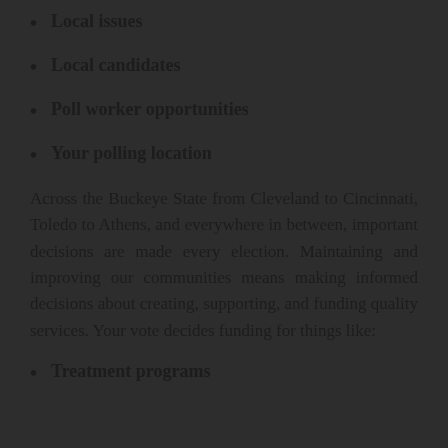Local issues
Local candidates
Poll worker opportunities
Your polling location
Across the Buckeye State from Cleveland to Cincinnati, Toledo to Athens, and everywhere in between, important decisions are made every election. Maintaining and improving our communities means making informed decisions about creating, supporting, and funding quality services. Your vote decides funding for things like:
Treatment programs